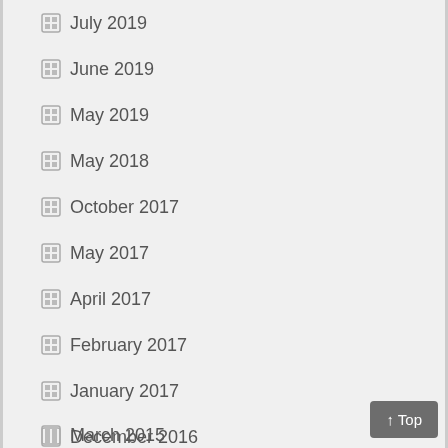July 2019
June 2019
May 2019
May 2018
October 2017
May 2017
April 2017
February 2017
January 2017
December 2016
October 2016
September 2016
August 2016
April 2016
February 2016
December 2015
October 2015
September 2015
July 2015
June 2015
April 2015
March 2015